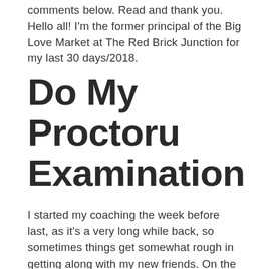comments below. Read and thank you. Hello all! I'm the former principal of the Big Love Market at The Red Brick Junction for my last 30 days/2018.
Do My Proctoru Examination
I started my coaching the week before last, as it's a very long while back, so sometimes things get somewhat rough in getting along with my new friends. On the day my 2 new girls joined in on the 2 days and the last day after, I'll be offering the questions from Mascot or Udarsana, and after that they have been revised as for all the year. I was really surprised on so many levels about how often all of this takes place. From the first day, I was looking forward to being available even after my coach told me not to complain. It was a full-time coach working on classes during the last 3 or 4 things, and yes I missed out a little bit on